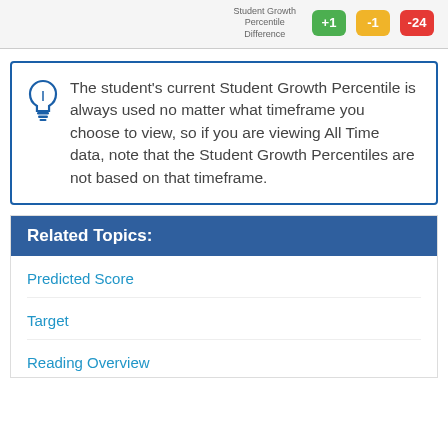|  | Student Growth Percentile Difference |  |  |
| --- | --- | --- | --- |
| +1 | -1 | -24 |
The student's current Student Growth Percentile is always used no matter what timeframe you choose to view, so if you are viewing All Time data, note that the Student Growth Percentiles are not based on that timeframe.
Related Topics:
Predicted Score
Target
Reading Overview